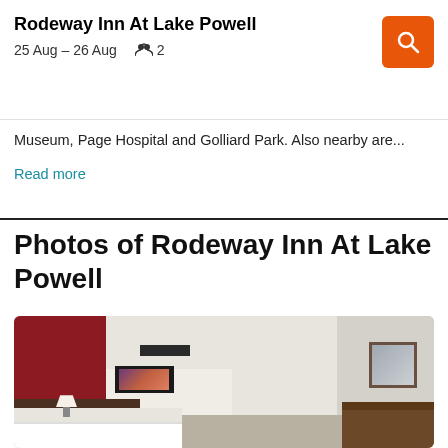Rodeway Inn At Lake Powell
25 Aug – 26 Aug    2
Museum, Page Hospital and Golliard Park. Also nearby are...
Read more
Photos of Rodeway Inn At Lake Powell
[Figure (photo): Hotel room interior showing a bed with white pillows, dark headboard, a lamp, a framed landscape picture on a cream-colored wall with a dark red accent wall on the left, a TV mounted on the wall, and furniture/dresser on the right side.]